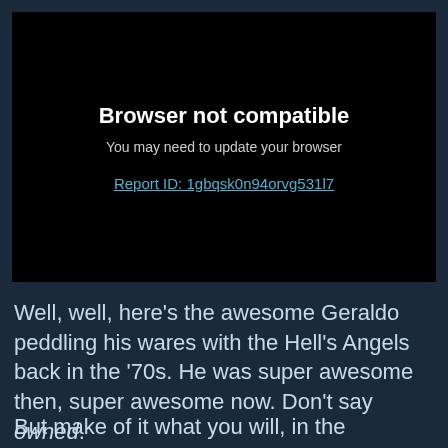[Figure (screenshot): Browser error screen with black background showing 'Browser not compatible' message, subtitle 'You may need to update your browser', and a report ID link]
Well, well, here's the awesome Geraldo peddling his wares with the Hell's Angels back in the '70s. He was super awesome then, super awesome now. Don't say owned.
But make of it what you will, in the meanwhile, here's